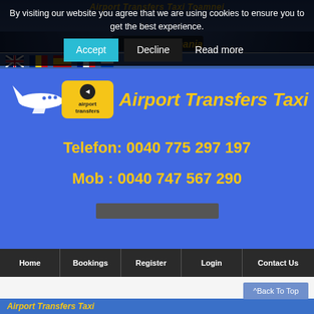[Figure (screenshot): Website header banner with airplane and car images, showing Airport Transfers Taxi Romania branding with yellow text on blue/dark background]
By visiting our website you agree that we are using cookies to ensure you to get the best experience.
[Figure (illustration): Accept, Decline, and Read more buttons for cookie consent overlay]
[Figure (illustration): Flag icons for UK, Romania, Spain, France and another country]
[Figure (logo): Airport Transfers Taxi logo with airplane illustration and yellow badge]
Telefon: 0040 775 297 197
Mob : 0040 747 567 290
Home | Bookings | Register | Login | Contact Us
^Back To Top
Airport Transfers Taxi